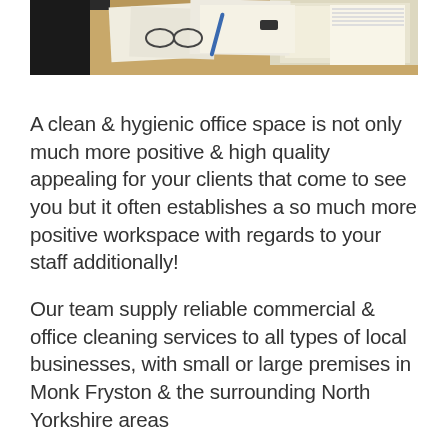[Figure (photo): Photo of a cluttered office desk with papers, binders, folders, glasses, and office supplies on a wooden surface. A computer monitor is partially visible in the background.]
A clean & hygienic office space is not only much more positive & high quality appealing for your clients that come to see you but it often establishes a so much more positive workspace with regards to your staff additionally!
Our team supply reliable commercial & office cleaning services to all types of local businesses, with small or large premises in Monk Fryston & the surrounding North Yorkshire areas